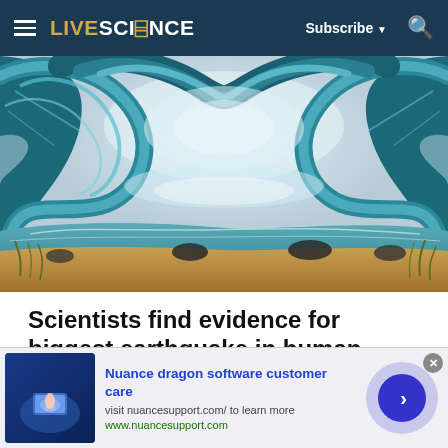LIVESCIENCE  Subscribe ▼  🔍
[Figure (photo): Dramatic ocean wave curling over a beach shoreline, teal-blue water forming a massive curl with sandy beach in foreground, artistic/surreal tsunami-like wave]
Scientists find evidence for biggest earthquake in human history
The quake was so ruinous, humans fled the area for 1,000 years.
Livescience
[Figure (screenshot): Advertisement banner: Nuance dragon software customer care. Visit nuancesupport.com/ to learn more. www.nuancesupport.com. Shows a close-up photo of a hand touching a tablet/device screen with blue glow, and a dark blue circular call-to-action button with right arrow.]